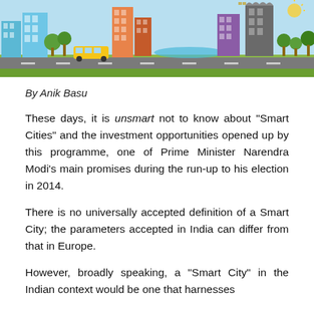[Figure (illustration): Colorful flat illustration of a smart city scene with buildings, trees, vehicles, roads, and infrastructure elements on a light blue background.]
By Anik Basu
These days, it is unsmart not to know about “Smart Cities” and the investment opportunities opened up by this programme, one of Prime Minister Narendra Modi’s main promises during the run-up to his election in 2014.
There is no universally accepted definition of a Smart City; the parameters accepted in India can differ from that in Europe.
However, broadly speaking, a “Smart City” in the Indian context would be one that harnesses